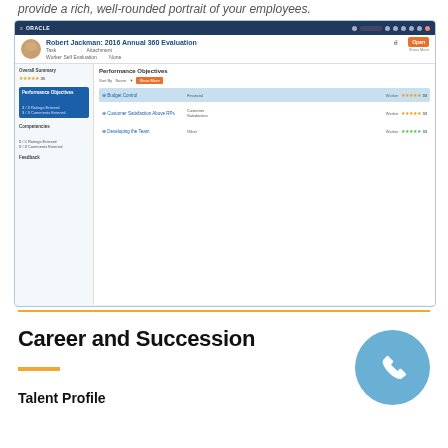provide a rich, well-rounded portrait of your employees.
[Figure (screenshot): Oracle HCM Cloud screenshot showing Robert Jackman 2016 Annual 360 Evaluation with Performance Objectives including Budget Control (Financial), Customer Satisfaction Above RPs (Customer Satisfaction), and Developing the Team (Other), with star ratings and scores.]
Career and Succession
Talent Profile